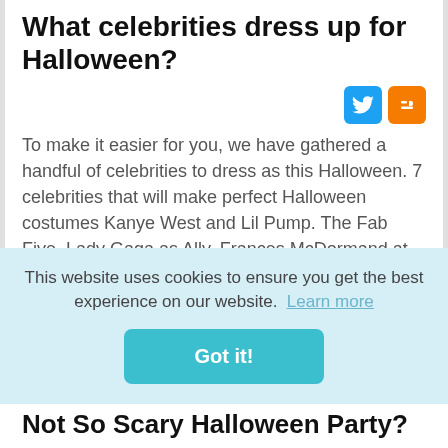What celebrities dress up for Halloween?
[Figure (other): Twitter and Blogger social share icons]
To make it easier for you, we have gathered a handful of celebrities to dress as this Halloween. 7 celebrities that will make perfect Halloween costumes Kanye West and Lil Pump. The Fab Five. Lady Gaga as Ally. Frances McDormand at the Met Gala. Cher as Ruby. Trixie and Katya.
This website uses cookies to ensure you get the best experience on our website. Learn more
Got it!
Not So Scary Halloween Party?